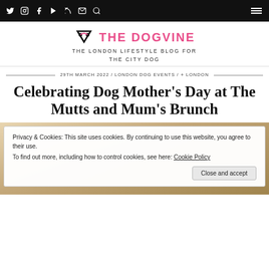Social icons: Twitter, Instagram, Facebook, YouTube, RSS, Email, Search | Hamburger menu
THE DOGVINE — THE LONDON LIFESTYLE BLOG FOR THE CITY DOG
29TH MARCH 2022 / LONDON DOG EVENTS / LONDON
Celebrating Dog Mother's Day at The Mutts and Mum's Brunch
[Figure (photo): Photo of people at a brunch event, partially visible]
Privacy & Cookies: This site uses cookies. By continuing to use this website, you agree to their use.
To find out more, including how to control cookies, see here: Cookie Policy
Close and accept